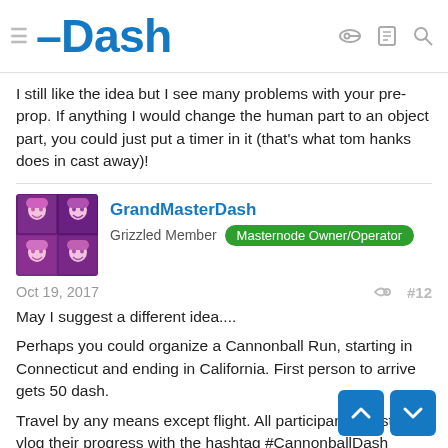Dash
I still like the idea but I see many problems with your pre-prop. If anything I would change the human part to an object part, you could just put a timer in it (that's what tom hanks does in cast away)!
GrandMasterDash
Grizzled Member  Masternode Owner/Operator
Oct 19, 2017   #12
May I suggest a different idea....
Perhaps you could organize a Cannonball Run, starting in Connecticut and ending in California. First person to arrive gets 50 dash.
Travel by any means except flight. All participants must re... vlog their progress with the hashtag #CannonballDash